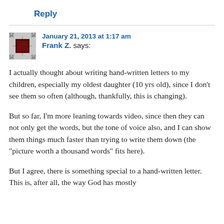Reply
January 21, 2013 at 1:17 am
Frank Z. says:
I actually thought about writing hand-written letters to my children, especially my oldest daughter (10 yrs old), since I don't see them so often (although, thankfully, this is changing).
But so far, I'm more leaning towards video, since then they can not only get the words, but the tone of voice also, and I can show them things much faster than trying to write them down (the "picture worth a thousand words" fits here).
But I agree, there is something special to a hand-written letter. This is, after all, the way God has mostly